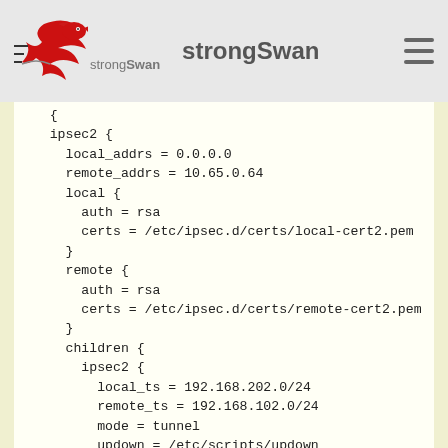strongSwan
{
    ipsec2 {
      local_addrs = 0.0.0.0
      remote_addrs = 10.65.0.64
      local {
        auth = rsa
        certs = /etc/ipsec.d/certs/local-cert2.pem
      }
      remote {
        auth = rsa
        certs = /etc/ipsec.d/certs/remote-cert2.pem
      }
      children {
        ipsec2 {
          local_ts = 192.168.202.0/24
          remote_ts = 192.168.102.0/24
          mode = tunnel
          updown = /etc/scripts/updown
          life_time = 3600
          rekey_time = 3060
          rand_time = 540